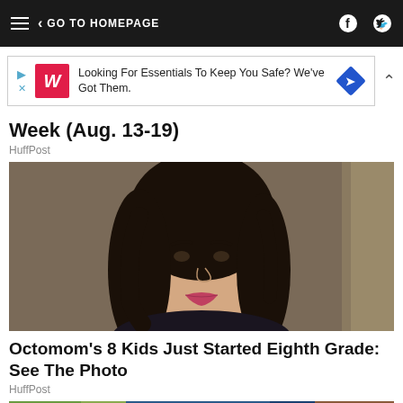GO TO HOMEPAGE
[Figure (screenshot): Walgreens advertisement banner: Looking For Essentials To Keep You Safe? We've Got Them.]
Week (Aug. 13-19)
HuffPost
[Figure (photo): Portrait photo of a woman with long dark black hair, looking at the camera, against a brown/tan background]
Octomom's 8 Kids Just Started Eighth Grade: See The Photo
HuffPost
[Figure (photo): Partial image strip at the bottom of the page showing colorful clothing or a crowd scene]